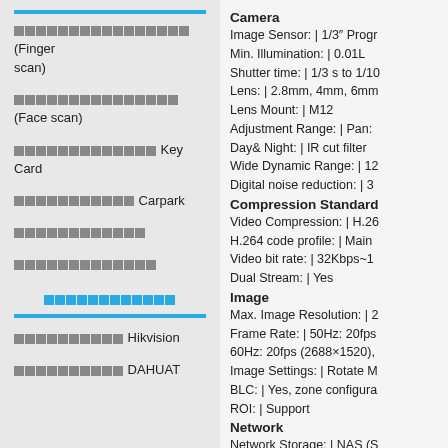xxxxxxxxxxxxxxxx (Finger scan)
xxxxxxxxxxxxxxxx (Face scan)
xxxxxxxxxxxxxxx Key Card
xxxxxxxxxxxx Carpark
xxxxxxxxxxxxx
xxxxxxxxxxxxxx
xxxxxxxxxxxxxxx (Thai link text)
xxxxxxxxxxxx Hikvision
xxxxxxxxxxx DAHUAT
Camera
Image Sensor: | 1/3" Progr
Min. Illumination: | 0.01L
Shutter time: | 1/3 s to 1/10
Lens: | 2.8mm, 4mm, 6mm
Lens Mount: | M12
Adjustment Range: | Pan:
Day& Night: | IR cut filter
Wide Dynamic Range: | 12
Digital noise reduction: | 3
Compression Standard
Video Compression: | H.26
H.264 code profile: | Main
Video bit rate: | 32Kbps~1
Dual Stream: | Yes
Image
Max. Image Resolution: | 2
Frame Rate: | 50Hz: 20fps
60Hz: 20fps (2688×1520),
Image Settings: | Rotate M
BLC: | Yes, zone configura
ROI: | Support
Network
Network Storage: | NAS (S
Alarm Trigger: | Line Cros